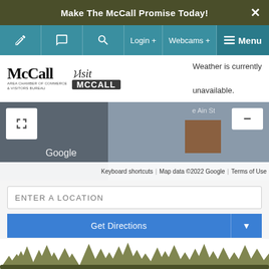Make The McCall Promise Today!
[Figure (screenshot): Navigation bar with icons for edit, comment, search, Login+, Webcams+, and Menu]
[Figure (logo): McCall Area Chamber of Commerce & Visitors Bureau logo and Visit McCall logo]
Weather is currently unavailable.
[Figure (map): Google map partial view with fullscreen button, zoom controls, and footer showing Keyboard shortcuts, Map data ©2022 Google, Terms of Use]
ENTER A LOCATION
Get Directions